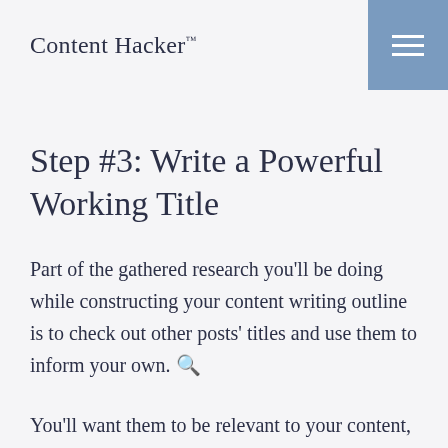Content Hacker™
Step #3: Write a Powerful Working Title
Part of the gathered research you'll be doing while constructing your content writing outline is to check out other posts' titles and use them to inform your own. 🔍
You'll want them to be relevant to your content, and you don't want to copy anyone.